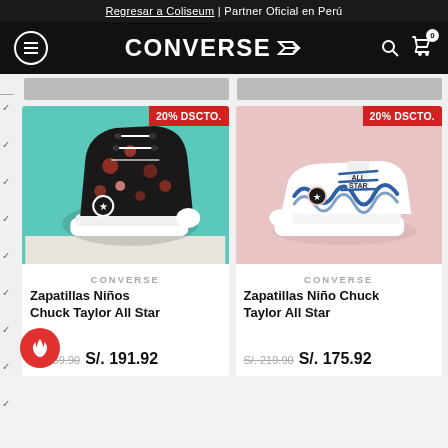Regresar a Coliseum | Partner Oficial en Perú
[Figure (logo): Converse logo with star and arrow on black navigation bar with hamburger menu, search icon, and cart icon showing 0 items]
[Figure (photo): Converse Zapatillas Niños Chuck Taylor All Star high-top sneaker with floral/skull pattern on teal background, 20% DSCTO badge]
CONVERSE
Zapatillas Niños Chuck Taylor All Star
S/. 239.90   S/. 191.92
[Figure (photo): Converse Zapatillas Niño Chuck Taylor All Star low-top sneaker white with blue pattern on pink background, 20% DSCTO badge]
CONVERSE
Zapatillas Niño Chuck Taylor All Star
S/. 219.90   S/. 175.92